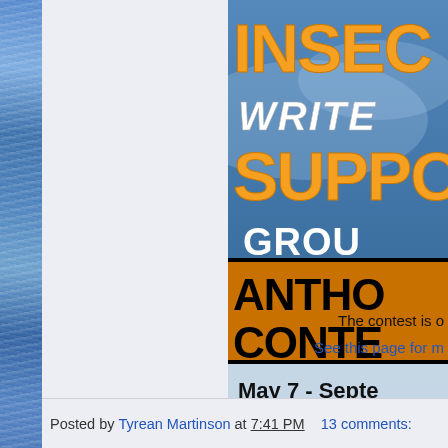[Figure (illustration): Partially visible contest banner for 'Insecure Writers Support Group Anthology Contest' with orange and white text on a blue background, date reads May 7 - September [cut off]]
The contest is o[ver — cut off]
See this page for m[ore — cut off]
Posted by Tyrean Martinson at 7:41 PM   13 comments: